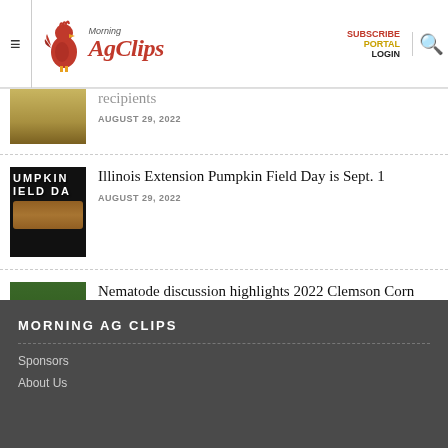Morning AgClips — SUBSCRIBE PORTAL LOGIN
[Figure (screenshot): Partial article thumbnail showing a crop field]
AUGUST 29, 2022
[Figure (screenshot): Pumpkin Field Day thumbnail with text UMPKIN IELD DA]
Illinois Extension Pumpkin Field Day is Sept. 1
AUGUST 29, 2022
[Figure (photo): Person standing in a corn field]
Nematode discussion highlights 2022 Clemson Corn Field Day
AUGUST 29, 2022
MORNING AG CLIPS
Sponsors
About Us